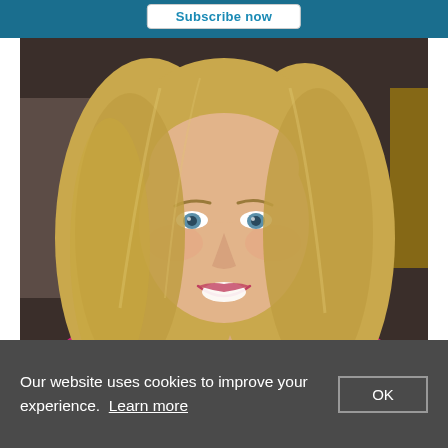Subscribe now
[Figure (photo): Headshot of a smiling woman with long blonde hair and blue eyes, wearing a bright pink/magenta top, photographed against a blurred indoor background.]
Our website uses cookies to improve your experience. Learn more